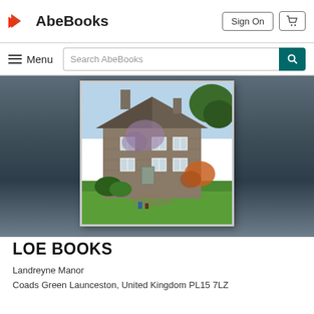AbeBooks | Sign On | Cart
Menu | Search AbeBooks
[Figure (photo): A stone manor house with ivy and flowering wisteria climbing the walls, set in a green lawn with colorful garden shrubs and trees, blue sky in background. This is Landreyne Manor.]
LOE BOOKS
Landreyne Manor
Coads Green Launceston, United Kingdom PL15 7LZ